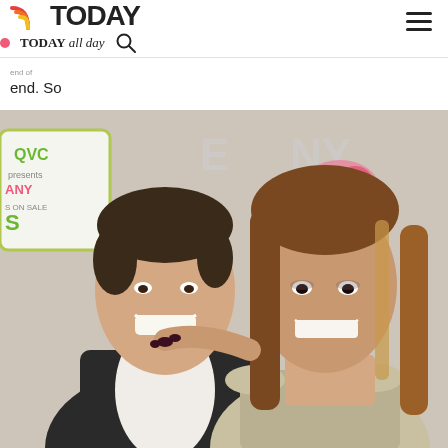TODAY | TODAY all day
end. So
[Figure (photo): A smiling couple posing together at an event with QVC and NY branded backdrop. The man wears a dark blazer with white shirt; the woman wears a silver/gold off-shoulder dress and has long highlighted brown hair.]